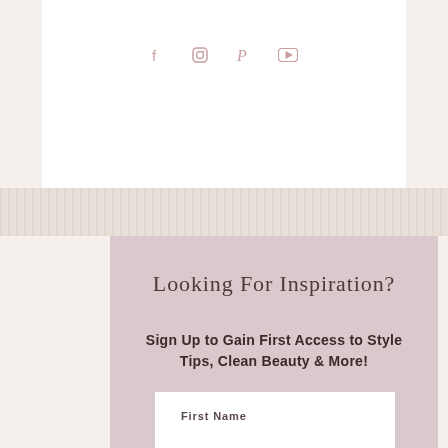f  ☰  P  ▶
Looking For Inspiration?
Sign Up to Gain First Access to Style Tips, Clean Beauty & More!
First Name
Last Name